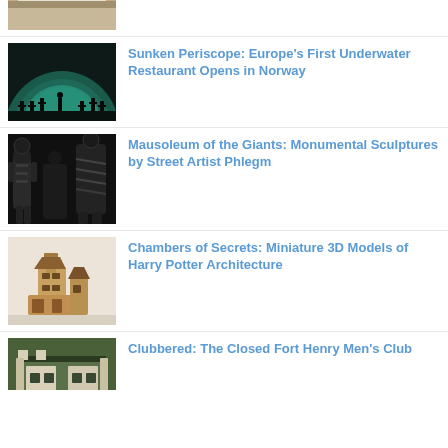[Figure (photo): Partial view of a white building with red cross, outdoor scene, cut off at top]
[Figure (photo): Dark underwater restaurant interior with chairs and figure silhouetted against teal glow]
Sunken Periscope: Europe's First Underwater Restaurant Opens in Norway
[Figure (photo): Black and white photo of large mechanical/sculptural giant figures by street artist Phlegm]
Mausoleum of the Giants: Monumental Sculptures by Street Artist Phlegm
[Figure (photo): Miniature 3D wooden model of Harry Potter architecture building]
Chambers of Secrets: Miniature 3D Models of Harry Potter Architecture
[Figure (photo): Partial view of a historic building exterior, green walls, partially cut off at bottom]
Clubbered: The Closed Fort Henry Men's Club